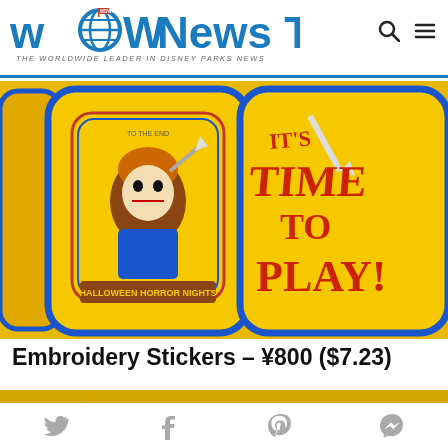WDW News Today – THE WORLDWIDE LEADER IN DISNEY PARKS NEWS
[Figure (photo): Yellow Chucky-themed lunch boxes/bags on a store shelf. The left bag shows Chucky doll with a knife and 'Halloween Horror Nights' text. The right bag shows 'IT'S TIME TO PLAY!' text in red on yellow background.]
Embroidery Stickers – ¥800 ($7.23)
[Figure (photo): Partial image of what appears to be merchandise, cropped at bottom of page, showing yellow and blue colors.]
Social share icons: Twitter, Facebook, Pinterest, Messenger